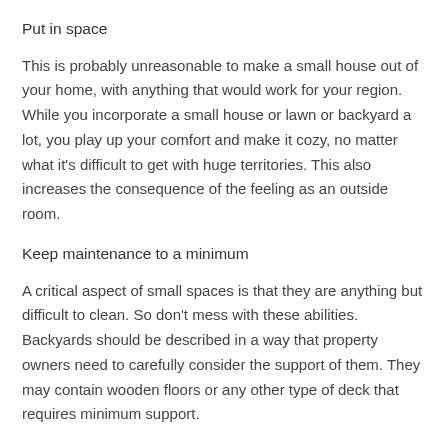Put in space
This is probably unreasonable to make a small house out of your home, with anything that would work for your region. While you incorporate a small house or lawn or backyard a lot, you play up your comfort and make it cozy, no matter what it's difficult to get with huge territories. This also increases the consequence of the feeling as an outside room.
Keep maintenance to a minimum
A critical aspect of small spaces is that they are anything but difficult to clean. So don't mess with these abilities. Backyards should be described in a way that property owners need to carefully consider the support of them. They may contain wooden floors or any other type of deck that requires minimum support.
Conduct calming lighting design
Backyards also has a multifaceted lighting plan. Sconces serves more than one part of the lighting lighting apparatus according to the